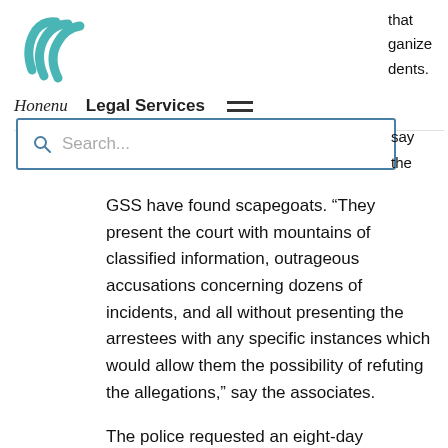[Figure (logo): Honenu Legal Services logo - teal/turquoise checkmark-like swoosh icon]
Honenu   Legal Services
that organize dents.
Search...
say the
GSS have found scapegoats. “They present the court with mountains of classified information, outrageous accusations concerning dozens of incidents, and all without presenting the arrestees with any specific instances which would allow them the possibility of refuting the allegations,” say the associates.
The police requested an eight-day